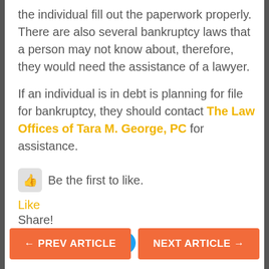the individual fill out the paperwork properly. There are also several bankruptcy laws that a person may not know about, therefore, they would need the assistance of a lawyer.
If an individual is in debt is planning for file for bankruptcy, they should contact The Law Offices of Tara M. George, PC for assistance.
Be the first to like.
Like
Share!
[Figure (other): Tweet button]
← PREV ARTICLE
NEXT ARTICLE →